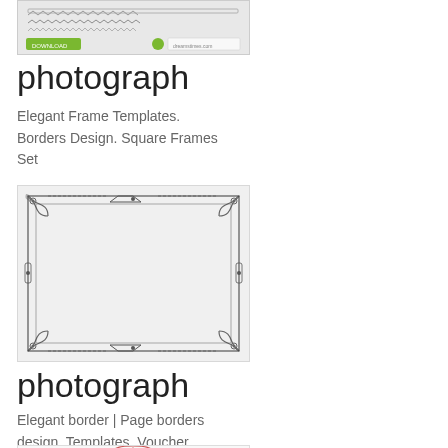[Figure (photo): Thumbnail image of border/frame templates with decorative lines and a green label bar at the bottom]
photograph
Elegant Frame Templates. Borders Design. Square Frames Set
[Figure (illustration): Elegant decorative square frame with ornate corner flourishes and border details on grey background]
photograph
Elegant border | Page borders design, Templates, Voucher
[Figure (illustration): Partial view of another decorative frame with pink/red ornamental top border on light background]